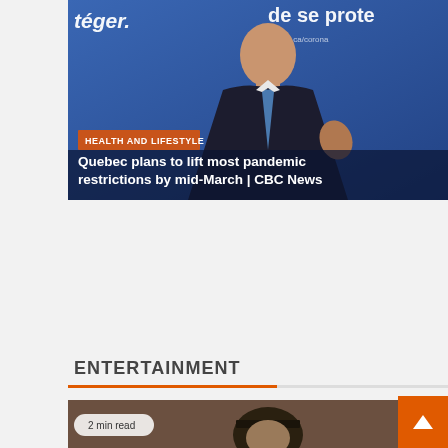[Figure (photo): News article header image showing a man in a dark suit speaking at a press conference in front of a blue backdrop with French text]
HEALTH AND LIFESTYLE
Quebec plans to lift most pandemic restrictions by mid-March | CBC News
ENTERTAINMENT
[Figure (photo): Entertainment section preview image showing a person wearing a dark hat, partially visible]
2 min read